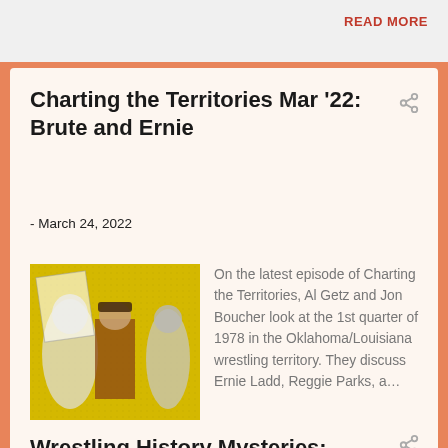READ MORE
Charting the Territories Mar '22: Brute and Ernie
- March 24, 2022
[Figure (photo): Collage image on yellow background showing wrestling figures including a man in a hat and wrestlers]
On the latest episode of Charting the Territories, Al Getz and Jon Boucher look at the 1st quarter of 1978 in the Oklahoma/Louisiana wrestling territory. They discuss Ernie Ladd, Reggie Parks, a…
READ MORE
Wrestling History Mysteries: Mister Montez